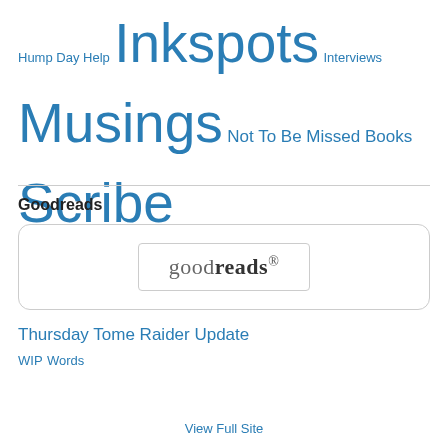Hump Day Help  Inkspots  Interviews  Musings  Not To Be Missed Books  Scribe  Scribbles  Thoughts for a Thursday  Tome Raider Update  WIP  Words
Goodreads
[Figure (logo): Goodreads logo inside a rounded rectangle box]
View Full Site